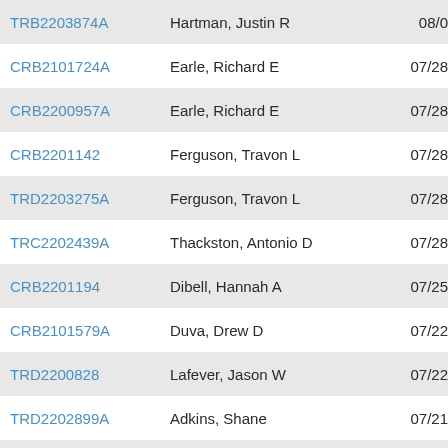| Case ID | Name | Date |
| --- | --- | --- |
| TRB2203874A | Hartman, Justin R | 08/0 |
| CRB2101724A | Earle, Richard E | 07/28 |
| CRB2200957A | Earle, Richard E | 07/28 |
| CRB2201142 | Ferguson, Travon L | 07/28 |
| TRD2203275A | Ferguson, Travon L | 07/28 |
| TRC2202439A | Thackston, Antonio D | 07/28 |
| CRB2201194 | Dibell, Hannah A | 07/25 |
| CRB2101579A | Duva, Drew D | 07/22 |
| TRD2200828 | Lafever, Jason W | 07/22 |
| TRD2202899A | Adkins, Shane | 07/21 |
| CRA2201169 | Kessler, Devon D | 07/21 |